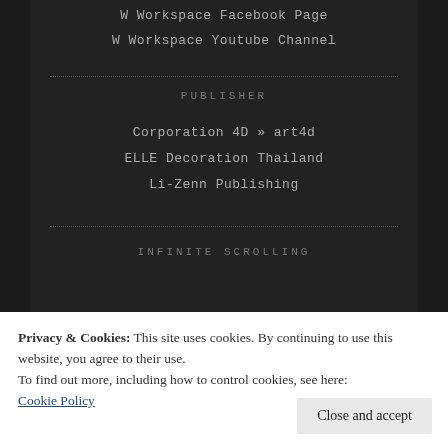W Workspace Facebook Page
W Workspace Youtube Channel
PUBLISHER
Corporation 4D » art4d
ELLE Decoration Thailand
Li-Zenn Publishing
INFINITE SCROLLING
Privacy & Cookies: This site uses cookies. By continuing to use this website, you agree to their use.
To find out more, including how to control cookies, see here: Cookie Policy
Close and accept